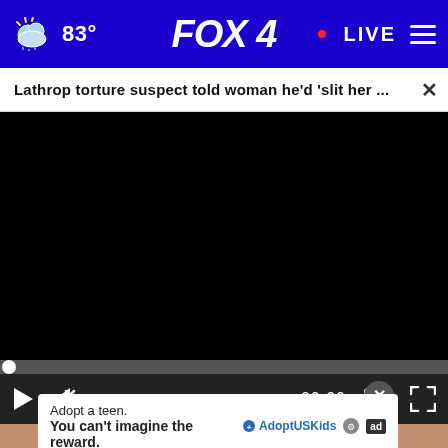FOX 4 — 83° — LIVE
Lathrop torture suspect told woman he'd 'slit her ...
[Figure (screenshot): Black video player area with playback controls: play button, mute icon, timestamp 00:00, captions icon, fullscreen icon. Progress bar at bottom with white circle at start.]
[Figure (photo): Partial photo visible below video player showing white powdery substance in a clear measuring cup on a wooden surface.]
Adopt a teen. You can't imagine the reward.